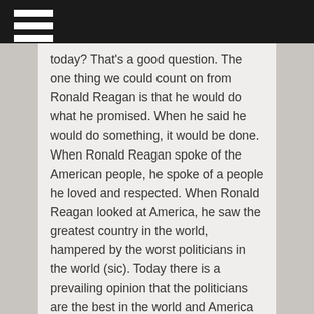today? That's a good question. The one thing we could count on from Ronald Reagan is that he would do what he promised. When he said he would do something, it would be done. When Ronald Reagan spoke of the American people, he spoke of a people he loved and respected. When Ronald Reagan looked at America, he saw the greatest country in the world, hampered by the worst politicians in the world (sic). Today there is a prevailing opinion that the politicians are the best in the world and America is